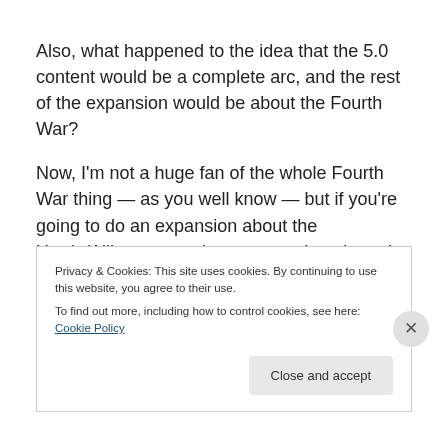Also, what happened to the idea that the 5.0 content would be a complete arc, and the rest of the expansion would be about the Fourth War?
Now, I'm not a huge fan of the whole Fourth War thing — as you well know — but if you're going to do an expansion about the Horde/Alliance war, do an expansion about the Horde/Alliance war. Seems kind of weird that we're
Privacy & Cookies: This site uses cookies. By continuing to use this website, you agree to their use.
To find out more, including how to control cookies, see here: Cookie Policy